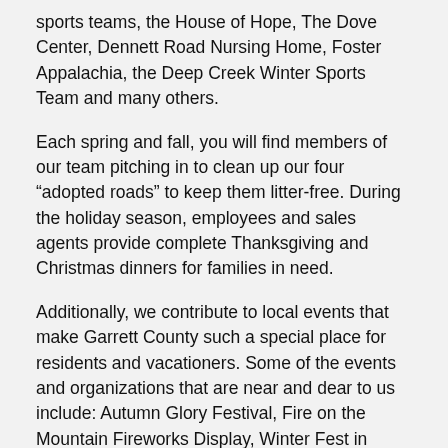sports teams, the House of Hope, The Dove Center, Dennett Road Nursing Home, Foster Appalachia, the Deep Creek Winter Sports Team and many others.
Each spring and fall, you will find members of our team pitching in to clean up our four “adopted roads” to keep them litter-free. During the holiday season, employees and sales agents provide complete Thanksgiving and Christmas dinners for families in need.
Additionally, we contribute to local events that make Garrett County such a special place for residents and vacationers. Some of the events and organizations that are near and dear to us include: Autumn Glory Festival, Fire on the Mountain Fireworks Display, Winter Fest in Oakland, Little Yough Music Festival, Garrett Lakes Arts Festival, Fast & Furriest 5K Fun Run, Deep Creek Lake Art, Wine & Beer Festival and the Deep Creek Dunk.